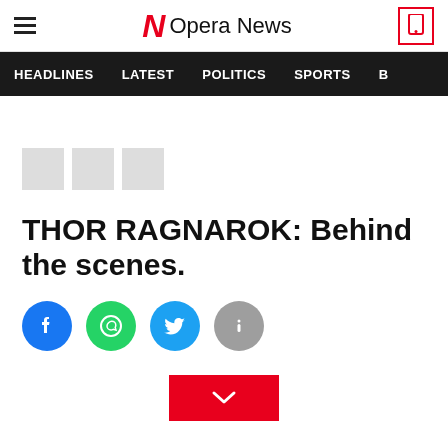Opera News
HEADLINES  LATEST  POLITICS  SPORTS  B
THOR RAGNAROK: Behind the scenes.
[Figure (other): Social share icons: Facebook, WhatsApp, Twitter, Info]
[Figure (other): Red button with downward chevron]